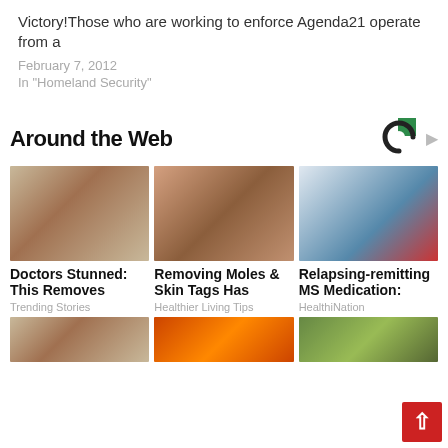Victory!Those who are working to enforce Agenda21 operate from a
February 7, 2012
In "Homeland Security"
Around the Web
[Figure (photo): Close-up of elderly person's skin on nose/cheek area]
Doctors Stunned: This Removes
Trending Stories
[Figure (photo): Woman applying cotton pad to nose for skincare]
Removing Moles & Skin Tags Has
Healthier Living Tips
[Figure (photo): Smiling female doctor in white coat with stethoscope]
Relapsing-remitting MS Medication:
HealthiNation
[Figure (logo): Circular C logo with green square accent]
[Figure (photo): Bottom row partial image 1 - elderly skin]
[Figure (photo): Bottom row partial image 2 - fire/orange]
[Figure (photo): Bottom row partial image 3 - green/nature]